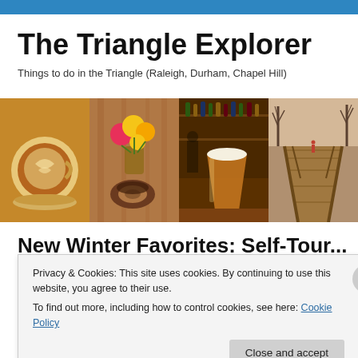The Triangle Explorer
Things to do in the Triangle (Raleigh, Durham, Chapel Hill)
[Figure (photo): Four photos in a horizontal strip: latte art in a cup, flowers and a donut on a table, a beer glass at a bar, and a wooden boardwalk through bare winter trees.]
Privacy & Cookies: This site uses cookies. By continuing to use this website, you agree to their use.
To find out more, including how to control cookies, see here: Cookie Policy
Close and accept